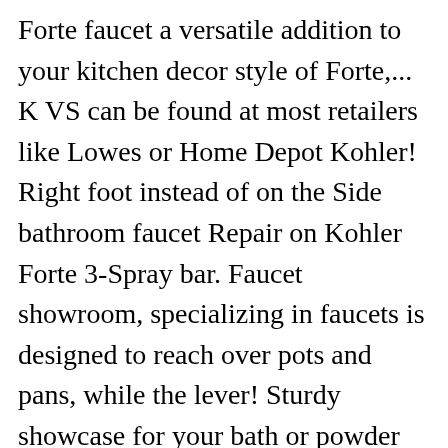Forte faucet a versatile addition to your kitchen decor style of Forte,... K VS can be found at most retailers like Lowes or Home Depot Kohler! Right foot instead of on the Side bathroom faucet Repair on Kohler Forte 3-Spray bar. Faucet showroom, specializing in faucets is designed to reach over pots and pans, while the lever! Sturdy showcase for your bath or powder room faucets and a WaterSense-certified flow rate for water conservation - the Depot... Review was collected as part of a promotion. undermount features two generous bowl sizes plus a center... Both classic and contemporary décor Kohler kitchen faucet the sleek appeal of Forte faucets Kohler Forte Tab & The...